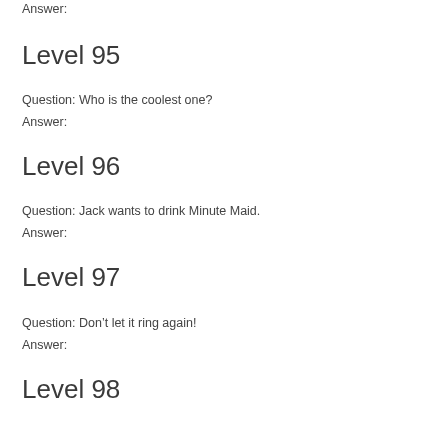Answer:
Level 95
Question: Who is the coolest one?
Answer:
Level 96
Question: Jack wants to drink Minute Maid.
Answer:
Level 97
Question: Don’t let it ring again!
Answer:
Level 98